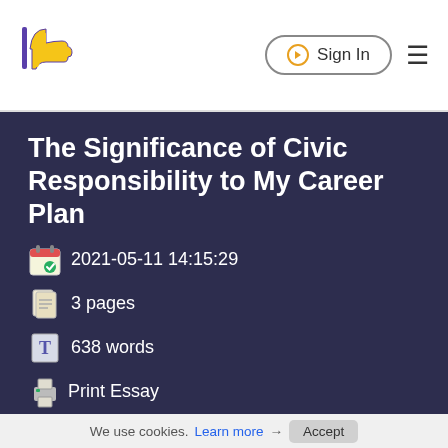Sign In
The Significance of Civic Responsibility to My Career Plan
2021-05-11 14:15:29
3 pages
638 words
Print Essay
We use cookies. Learn more → Accept